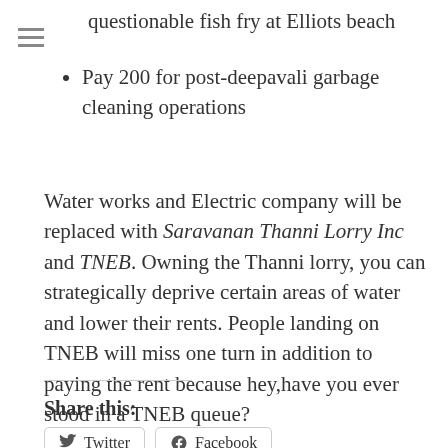questionable fish fry at Elliots beach
Pay 200 for post-deepavali garbage cleaning operations
Water works and Electric company will be replaced with Saravanan Thanni Lorry Inc and TNEB. Owning the Thanni lorry, you can strategically deprive certain areas of water and lower their rents. People landing on TNEB will miss one turn in addition to paying the rent because hey,have you ever stood in a TNEB queue?
Share this:
Twitter
Facebook
Loading...